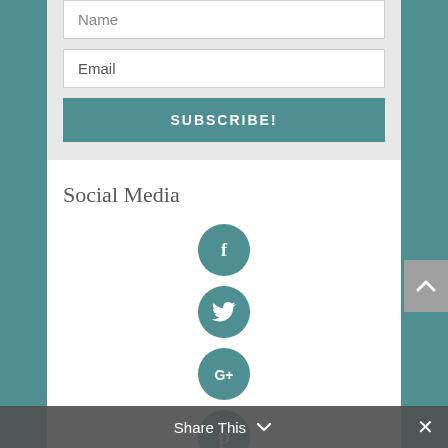[Figure (screenshot): Email subscription form with Name field (partially visible at top), Email field, and a teal SUBSCRIBE! button on a light gray background.]
Social Media
[Figure (infographic): Vertical stack of five teal circular social media icon buttons: Facebook (f), Twitter (bird), Google+ (G+), Pinterest (p), Instagram (camera). Partially cut off at bottom.]
Share This
[Figure (infographic): Gray scroll-to-top button with up chevron on the right side of the page.]